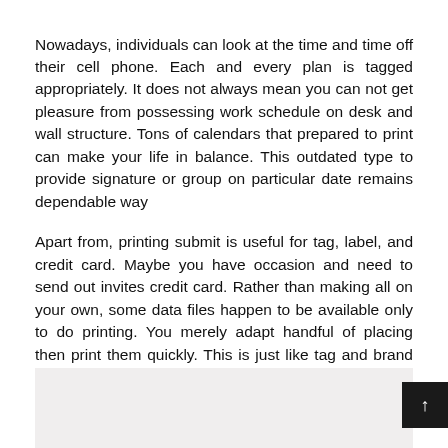Nowadays, individuals can look at the time and time off their cell phone. Each and every plan is tagged appropriately. It does not always mean you can not get pleasure from possessing work schedule on desk and wall structure. Tons of calendars that prepared to print can make your life in balance. This outdated type to provide signature or group on particular date remains dependable way
Apart from, printing submit is useful for tag, label, and credit card. Maybe you have occasion and need to send out invites credit card. Rather than making all on your own, some data files happen to be available only to do printing. You merely adapt handful of placing then print them quickly. This is just like tag and brand for certain merchandise. It is possible to print it in to the dish, mug, cup, or any memento.
[Figure (photo): Partially visible image at the bottom of the page, light grey/beige colored, with a dark scroll-to-top button (↑) overlaid at the bottom right.]